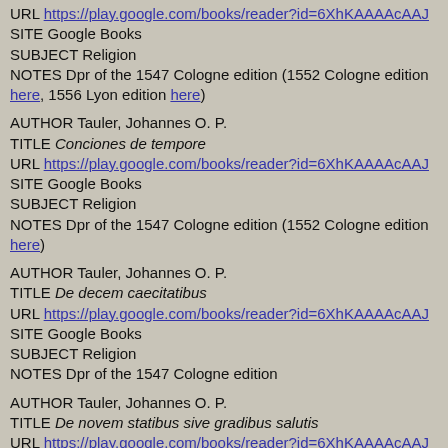URL https://play.google.com/books/reader?id=6XhKAAAAcAAJ
SITE Google Books
SUBJECT Religion
NOTES Dpr of the 1547 Cologne edition (1552 Cologne edition here, 1556 Lyon edition here)
AUTHOR Tauler, Johannes O. P.
TITLE Conciones de tempore
URL https://play.google.com/books/reader?id=6XhKAAAAcAAJ
SITE Google Books
SUBJECT Religion
NOTES Dpr of the 1547 Cologne edition (1552 Cologne edition here)
AUTHOR Tauler, Johannes O. P.
TITLE De decem caecitatibus
URL https://play.google.com/books/reader?id=6XhKAAAAcAAJ
SITE Google Books
SUBJECT Religion
NOTES Dpr of the 1547 Cologne edition
AUTHOR Tauler, Johannes O. P.
TITLE De novem statibus sive gradibus salutis
URL https://play.google.com/books/reader?id=6XhKAAAAcAAJ
SITE Google Books
SUBJECT Religion